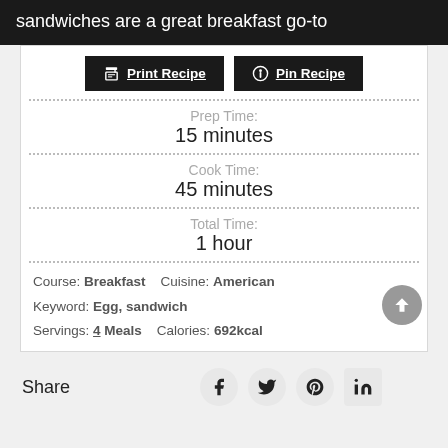sandwiches are a great breakfast go-to
Print Recipe   Pin Recipe
Prep Time: 15 minutes
Cook Time: 45 minutes
Total Time: 1 hour
Course: Breakfast   Cuisine: American   Keyword: Egg, sandwich   Servings: 4 Meals   Calories: 692kcal
Share